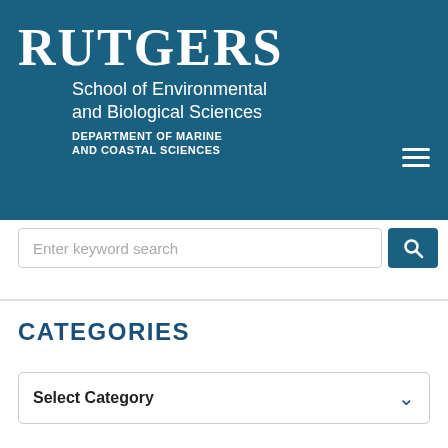RUTGERS School of Environmental and Biological Sciences DEPARTMENT OF MARINE AND COASTAL SCIENCES
Enter keyword search
CATEGORIES
Select Category